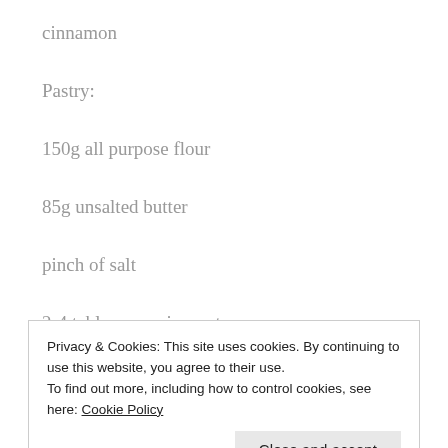cinnamon
Pastry:
150g all purpose flour
85g unsalted butter
pinch of salt
2-4 tablespoons ice water
Privacy & Cookies: This site uses cookies. By continuing to use this website, you agree to their use.
To find out more, including how to control cookies, see here: Cookie Policy
Mix together the melted butter & sugar, line the